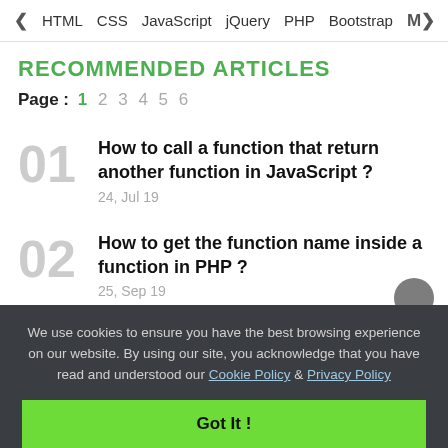< HTML   CSS   JavaScript   jQuery   PHP   Bootstrap   M>
RECOMMENDED ARTICLES
Page : 1 2 3 4 5 6
01 How to call a function that return another function in JavaScript ? 24, Jul 19
02 How to get the function name inside a function in PHP ? 25, Sep 19
We use cookies to ensure you have the best browsing experience on our website. By using our site, you acknowledge that you have read and understood our Cookie Policy & Privacy Policy
Got It !